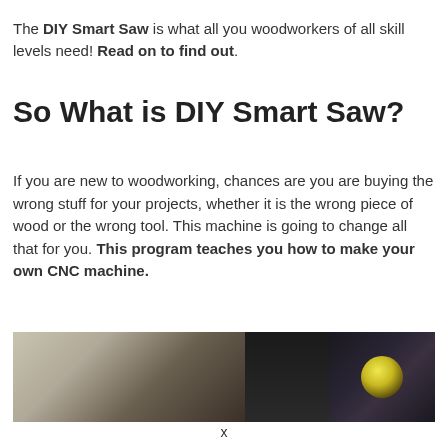The DIY Smart Saw is what all you woodworkers of all skill levels need! Read on to find out.
So What is DIY Smart Saw?
If you are new to woodworking, chances are you are buying the wrong stuff for your projects, whether it is the wrong piece of wood or the wrong tool. This machine is going to change all that for you. This program teaches you how to make your own CNC machine.
[Figure (photo): Close-up photo of a CNC machine or woodworking tool, showing a dark machine body with a circular disc/blade element on a workbench surface]
x